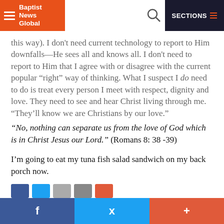Baptist News Global — SECTIONS
this way). I don't need current technology to report to Him downfalls—He sees all and knows all. I don't need to report to Him that I agree with or disagree with the current popular “right” way of thinking. What I suspect I do need to do is treat every person I meet with respect, dignity and love. They need to see and hear Christ living through me. “They’ll know we are Christians by our love.”
“No, nothing can separate us from the love of God which is in Christ Jesus our Lord.” (Romans 8: 38 -39)
I’m going to eat my tuna fish salad sandwich on my back porch now.
Share buttons: Facebook, Twitter, Plus